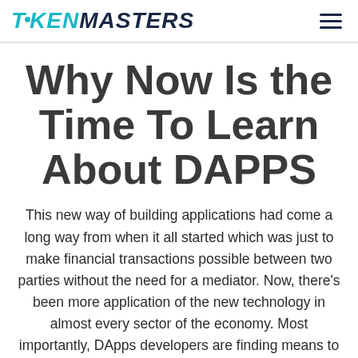TOKEN MASTERS
Why Now Is the Time To Learn About DAPPS
This new way of building applications had come a long way from when it all started which was just to make financial transactions possible between two parties without the need for a mediator. Now, there's been more application of the new technology in almost every sector of the economy. Most importantly, DApps developers are finding means to reward their users, using the platform's native tokens which